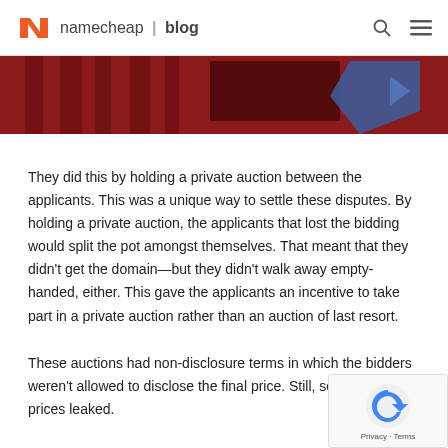namecheap | blog
[Figure (photo): Partial banner image with red background and dark graphic elements]
They did this by holding a private auction between the applicants. This was a unique way to settle these disputes. By holding a private auction, the applicants that lost the bidding would split the pot amongst themselves. That meant that they didn't get the domain—but they didn't walk away empty-handed, either. This gave the applicants an incentive to take part in a private auction rather than an auction of last resort.
These auctions had non-disclosure terms in which the bidders weren't allowed to disclose the final price. Still, some of the prices leaked.
In one noteworthy example, Automattic, the company